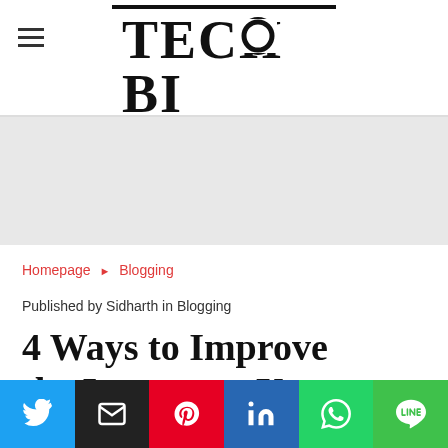TECHBI
Homepage ► Blogging
Published by Sidharth in Blogging
4 Ways to Improve the Images on Your Website